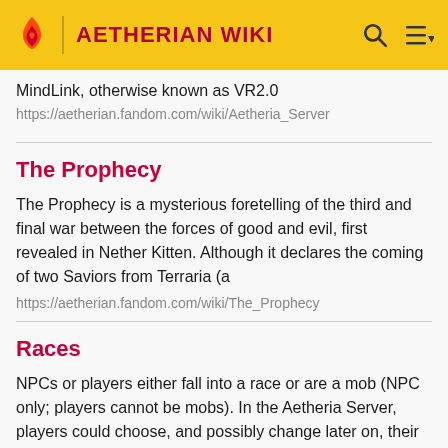AETHERIAN WIKI
MindLink, otherwise known as VR2.0
https://aetherian.fandom.com/wiki/Aetheria_Server
The Prophecy
The Prophecy is a mysterious foretelling of the third and final war between the forces of good and evil, first revealed in Nether Kitten. Although it declares the coming of two Saviors from Terraria (a
https://aetherian.fandom.com/wiki/The_Prophecy
Races
NPCs or players either fall into a race or are a mob (NPC only; players cannot be mobs). In the Aetheria Server, players could choose, and possibly change later on, their race. This data was
https://aetherian.fandom.com/wiki/Races